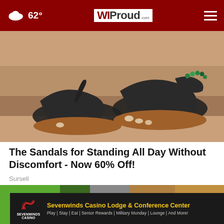62° | WI Proud .com
[Figure (photo): Close-up photo of a person's feet wearing black textured thong sandals with orthopedic soles and ankle strap with green bead bracelet, against a beige background.]
The Sandals for Standing All Day Without Discomfort - Now 60% Off!
Sursell
[Figure (photo): Partial photo of a person in work gear (yellow safety vest, gray pants) holding a yellow tool, partially obscured by advertisement overlay.]
[Figure (other): Advertisement banner: Sevenwinds Casino Lodge & Conference Center. Play | Stay | Eat | Senior Rewards | Military Monday | Lounge | And More!]